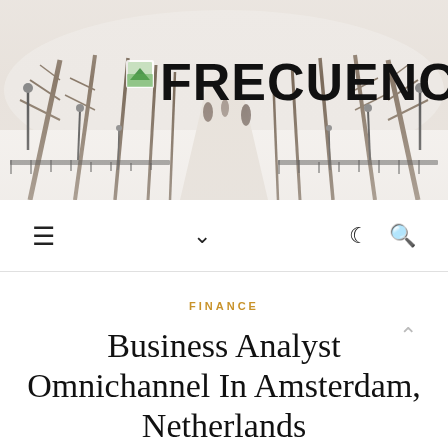[Figure (photo): Winter snowy park scene with tree-lined avenue, people walking in the distance, fog, lamp posts and iron fences on both sides. Misty, pale tones.]
FRECUENCIAEV
☰  ∨  ☽  🔍
FINANCE
Business Analyst Omnichannel In Amsterdam, Netherlands